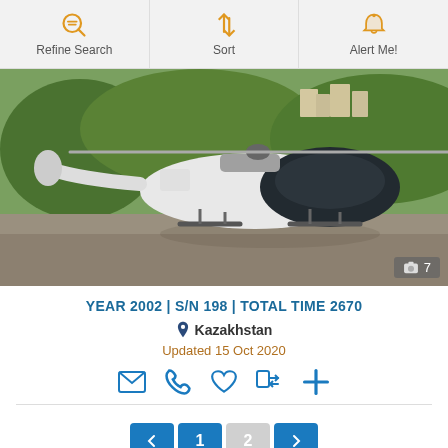Refine Search | Sort | Alert Me!
[Figure (photo): White helicopter parked on tarmac with green trees and buildings in background. Photo badge shows camera icon and number 7.]
YEAR 2002 | S/N 198 | TOTAL TIME 2670
Kazakhstan
Updated 15 Oct 2020
[Figure (other): Action icons: email, phone, heart (favorite), compare, add/plus]
Pagination: left arrow, 1, 2, right arrow